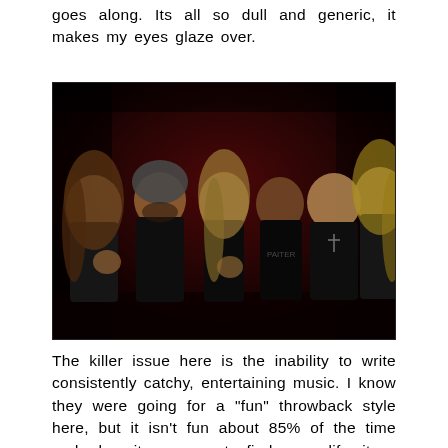goes along. Its all so dull and generic, it makes my eyes glaze over.
[Figure (photo): Group photo of six metal musicians posing against a dark reddish background, all making aggressive or excited expressions, wearing black clothing.]
The killer issue here is the inability to write consistently catchy, entertaining music. I know they were going for a "fun" throwback style here, but it isn't fun about 85% of the time and when it manages to find some life, its a half-life at best. There isn't one song here I need to keep in my